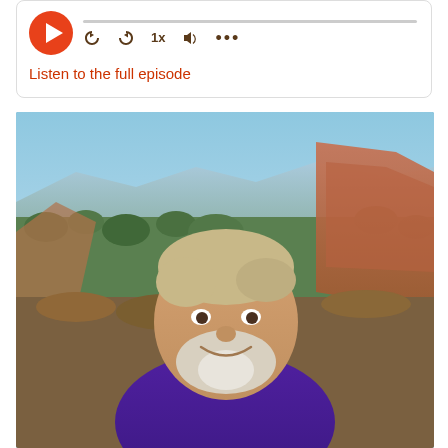[Figure (screenshot): Audio podcast player widget with orange play button, progress bar, and playback controls (rewind, forward, speed 1x, volume, more options)]
Listen to the full episode
[Figure (photo): Outdoor photo of a middle-aged man with grey-blond hair and white beard, wearing a purple jacket, standing in front of a scenic canyon landscape with rocky cliffs, green trees, and blue sky]